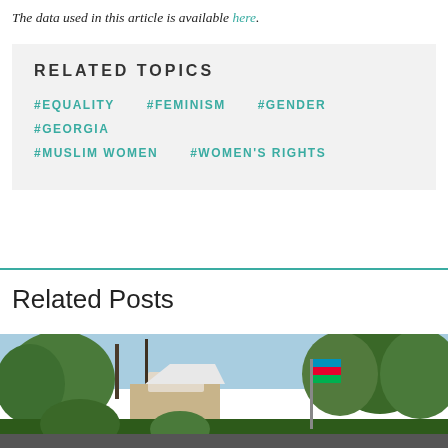The data used in this article is available here.
RELATED TOPICS
#EQUALITY
#FEMINISM
#GENDER
#GEORGIA
#MUSLIM WOMEN
#WOMEN'S RIGHTS
Related Posts
[Figure (photo): Outdoor scene with trees, a building, and a flag, likely in Georgia or Azerbaijan]